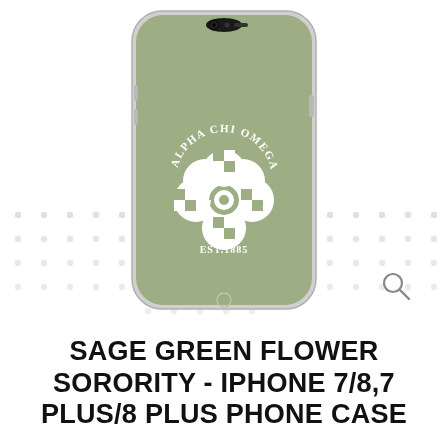[Figure (photo): iPhone 7/8 phone case with sage green background featuring Alpha Chi Omega sorority design with checkered flower pattern and EST.1885 text, shown in a product listing with carousel dot indicators and a magnifying glass search icon]
SAGE GREEN FLOWER SORORITY - IPHONE 7/8,7 PLUS/8 PLUS PHONE CASE